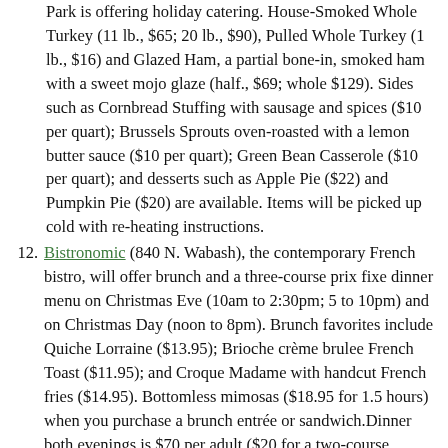Park is offering holiday catering. House-Smoked Whole Turkey (11 lb., $65; 20 lb., $90), Pulled Whole Turkey (1 lb., $16) and Glazed Ham, a partial bone-in, smoked ham with a sweet mojo glaze (half., $69; whole $129). Sides such as Cornbread Stuffing with sausage and spices ($10 per quart); Brussels Sprouts oven-roasted with a lemon butter sauce ($10 per quart); Green Bean Casserole ($10 per quart); and desserts such as Apple Pie ($22) and Pumpkin Pie ($20) are available. Items will be picked up cold with re-heating instructions.
12. Bistronomic (840 N. Wabash), the contemporary French bistro, will offer brunch and a three-course prix fixe dinner menu on Christmas Eve (10am to 2:30pm; 5 to 10pm) and on Christmas Day (noon to 8pm). Brunch favorites include Quiche Lorraine ($13.95); Brioche crème brulee French Toast ($11.95); and Croque Madame with handcut French fries ($14.95). Bottomless mimosas ($18.95 for 1.5 hours) when you purchase a brunch entrée or sandwich.Dinner both evenings is $70 per adult ($20 for a two-course